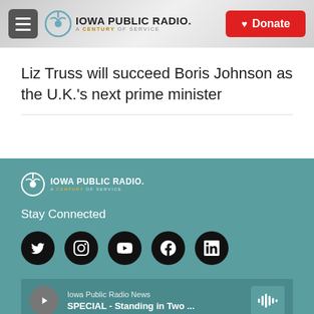Iowa Public Radio. A Century of Service | Donate
Liz Truss will succeed Boris Johnson as the U.K.'s next prime minister
Stay Connected | Iowa Public Radio News | SPECIAL - Standing in Two ...